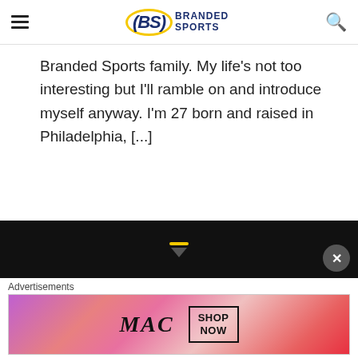(BS) BRANDED SPORTS
Branded Sports family. My life's not too interesting but I'll ramble on and introduce myself anyway. I'm 27 born and raised in Philadelphia, [...]
← PREVIOUS  1  ...  11  12  13
NEXT →
[Figure (screenshot): Black footer band with yellow indicator bar and downward triangle, close button]
Advertisements
[Figure (photo): MAC Cosmetics advertisement banner showing lipsticks with SHOP NOW button]